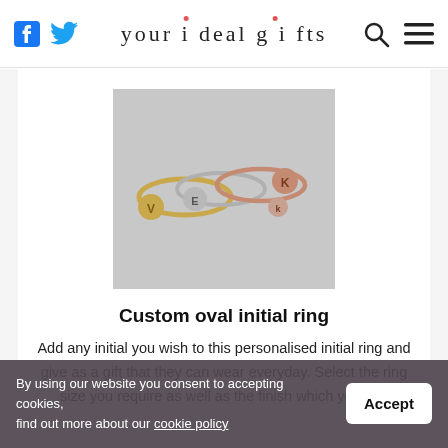your ideal gifts
[Figure (photo): Three personalized initial rings (gold, silver, rose gold) with letters V, E, K stamped on oval discs, arranged overlapping on a light surface.]
Custom oval initial ring
Add any initial you wish to this personalised initial ring and give as a gift that they can wear everyday. Select the ring size you require as well as the finish which you can
By using our website you consent to accepting cookies, find out more about our cookie policy